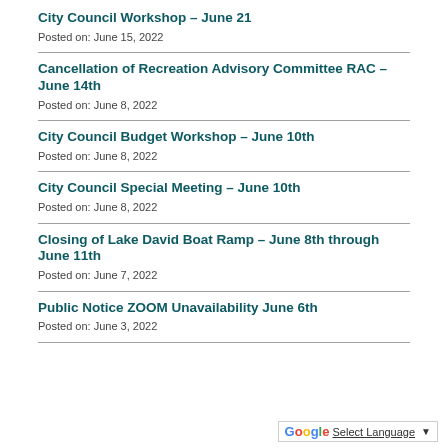City Council Workshop – June 21
Posted on: June 15, 2022
Cancellation of Recreation Advisory Committee RAC – June 14th
Posted on: June 8, 2022
City Council Budget Workshop – June 10th
Posted on: June 8, 2022
City Council Special Meeting – June 10th
Posted on: June 8, 2022
Closing of Lake David Boat Ramp – June 8th through June 11th
Posted on: June 7, 2022
Public Notice ZOOM Unavailability June 6th
Posted on: June 3, 2022